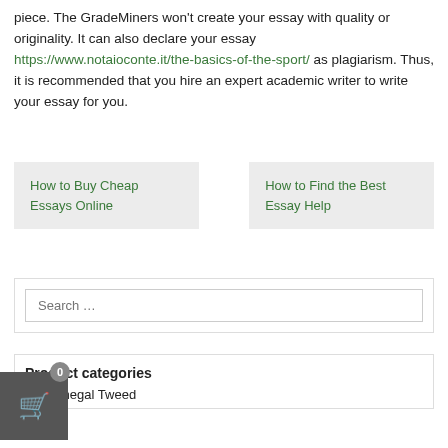piece. The GradeMiners won't create your essay with quality or originality. It can also declare your essay https://www.notaioconte.it/the-basics-of-the-sport/ as plagiarism. Thus, it is recommended that you hire an expert academic writer to write your essay for you.
How to Buy Cheap Essays Online
How to Find the Best Essay Help
Search ...
Product categories
Donegal Tweed